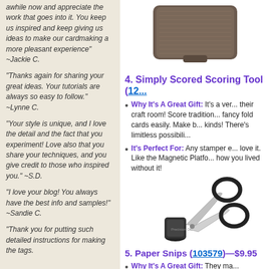awhile now and appreciate the work that goes into it. You keep us inspired and keep giving us ideas to make our cardmaking a more pleasant experience" ~Jackie C.
"Thanks again for sharing your great ideas. Your tutorials are always so easy to follow." ~Lynne C.
"Your style is unique, and I love the detail and the fact that you experiment! Love also that you share your techniques, and you give credit to those who inspired you." ~S.D.
"I love your blog! You always have the best info and samples!" ~Sandie C.
"Thank you for putting such detailed instructions for making the tags.
[Figure (photo): Brown Stampin' Up Simply Scored Scoring Tool]
4. Simply Scored Scoring Tool (12...
Why It's A Great Gift: It's a ver... their craft room! Score tradition... fancy fold cards easily. Make b... kinds! There's limitless possibili...
It's Perfect For: Any stamper e... love it. Like the Magnetic Platfo... how you lived without it!
[Figure (photo): Paper Snips scissors with cap]
5. Paper Snips (103579)—$9.95
Why It's A Great Gift: They ma... scissors! These babies are SHA... scissors I use for detailed cuttin...